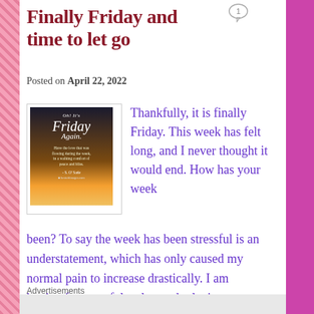Finally Friday and time to let go
Posted on April 22, 2022
[Figure (photo): A motivational Friday image with sunset background and text 'Oh! It's Friday Again. Have the love that was flowing during the week. In a walking comfort of peace and bliss. - S. O' Sade']
Thankfully, it is finally Friday. This week has felt long, and I never thought it would end. How has your week been? To say the week has been stressful is an understatement, which has only caused my normal pain to increase drastically. I am hoping for a restful, calm, and relaxing
Advertisements